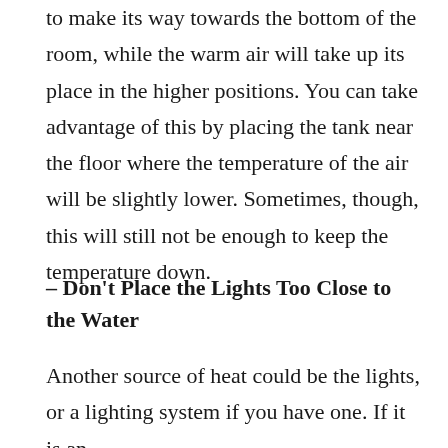to make its way towards the bottom of the room, while the warm air will take up its place in the higher positions. You can take advantage of this by placing the tank near the floor where the temperature of the air will be slightly lower. Sometimes, though, this will still not be enough to keep the temperature down.
– Don't Place the Lights Too Close to the Water
Another source of heat could be the lights, or a lighting system if you have one. If it is an